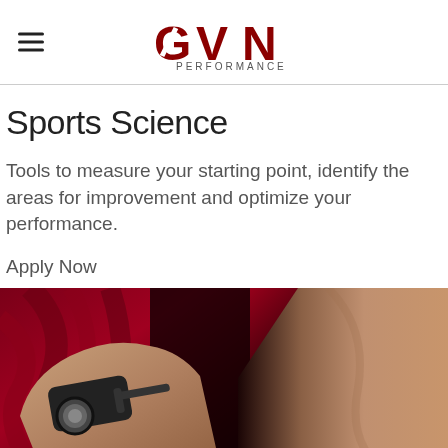GVN PERFORMANCE
Sports Science
Tools to measure your starting point, identify the areas for improvement and optimize your performance.
Apply Now
[Figure (photo): Close-up photo of hands using a body fat caliper measurement device on a person's arm/skin, with a red fabric background on the left and dark background on the right]